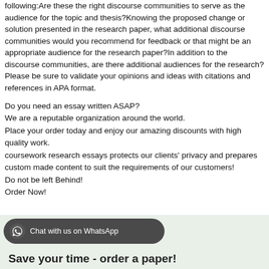following:Are these the right discourse communities to serve as the audience for the topic and thesis?Knowing the proposed change or solution presented in the research paper, what additional discourse communities would you recommend for feedback or that might be an appropriate audience for the research paper?In addition to the discourse communities, are there additional audiences for the research?Please be sure to validate your opinions and ideas with citations and references in APA format.
Do you need an essay written ASAP?
We are a reputable organization around the world.
Place your order today and enjoy our amazing discounts with high quality work.
coursework research essays protects our clients' privacy and prepares custom made content to suit the requirements of our customers!
Do not be left Behind!
Order Now!
[Figure (other): WhatsApp chat button and 'Save your time - order a paper!' call-to-action banner at bottom of page]